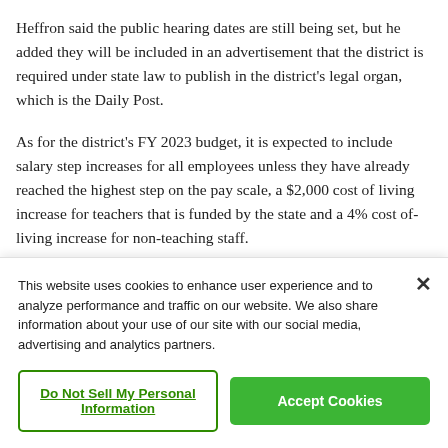Heffron said the public hearing dates are still being set, but he added they will be included in an advertisement that the district is required under state law to publish in the district's legal organ, which is the Daily Post.
As for the district's FY 2023 budget, it is expected to include salary step increases for all employees unless they have already reached the highest step on the pay scale, a $2,000 cost of living increase for teachers that is funded by the state and a 4% cost of-living increase for non-teaching staff.
This website uses cookies to enhance user experience and to analyze performance and traffic on our website. We also share information about your use of our site with our social media, advertising and analytics partners.
Do Not Sell My Personal Information
Accept Cookies